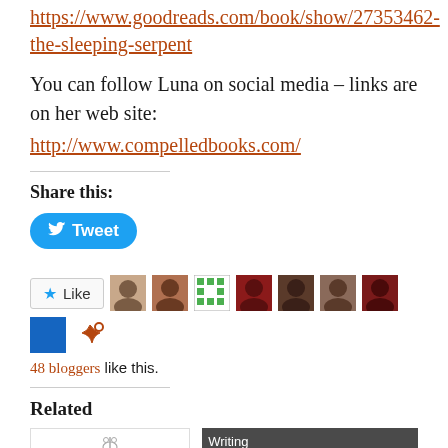https://www.goodreads.com/book/show/27353462-the-sleeping-serpent
You can follow Luna on social media – links are on her web site:
http://www.compelledbooks.com/
Share this:
[Figure (other): Tweet button (blue rounded rectangle with Twitter bird icon and 'Tweet' text)]
[Figure (other): Like button and blogger avatars row; 48 bloggers like this]
48 bloggers like this.
Related
[Figure (other): Two related article thumbnails: 'Psychological Disorders' and 'Writing characters']